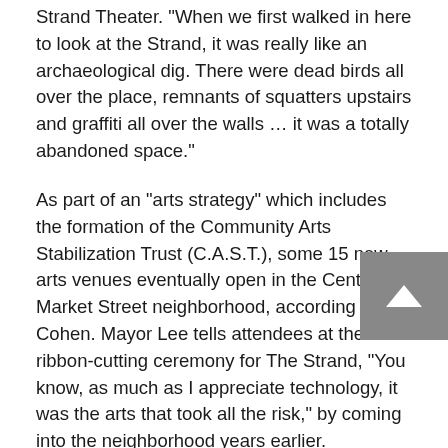Strand Theater. "When we first walked in here to look at the Strand, it was really like an archaeological dig. There were dead birds all over the place, remnants of squatters upstairs and graffiti all over the walls ... it was a totally abandoned space."
As part of an "arts strategy" which includes the formation of the Community Arts Stabilization Trust (C.A.S.T.), some 15 new arts venues eventually open in the Central Market Street neighborhood, according to Cohen. Mayor Lee tells attendees at the ribbon-cutting ceremony for The Strand, "You know, as much as I appreciate technology, it was the arts that took all the risk," by coming into the neighborhood years earlier. "Everyone talks about the digital divide. The arts can bridge the human divide," adds neighborhood advocate Elvin Padilla.
Cohen, who is interviewed from the inception of the documentary, confirms Goldes' perception of the "hundred small decisions" that will transform the neighborhood: "What I've learned is that it's not one thing. The stuff that is not